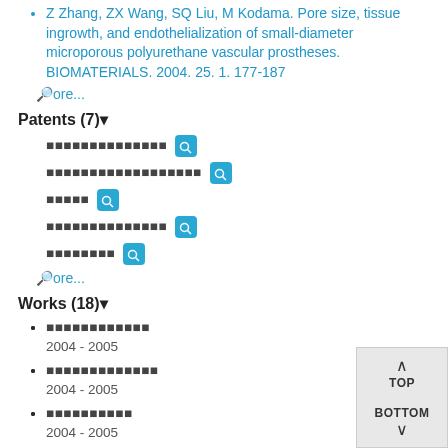Z Zhang, ZX Wang, SQ Liu, M Kodama. Pore size, tissue ingrowth, and endothelialization of small-diameter microporous polyurethane vascular prostheses. BIOMATERIALS. 2004. 25. 1. 177-187
more...
Patents (7)
[redacted patent title 1]
[redacted patent title 2]
[redacted patent title 3]
[redacted patent title 4]
[redacted patent title 5]
more...
Works (18)
[redacted work title 1]
2004 - 2005
[redacted work title 2]
2004 - 2005
[redacted work title 3]
2004 - 2005